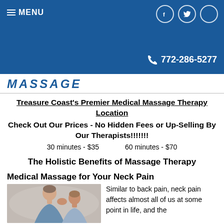MENU | 772-286-5277 | Social links
MASSAGE
Treasure Coast's Premier Medical Massage Therapy Location
Check Out Our Prices - No Hidden Fees or Up-Selling By Our Therapists!!!!!!!
30 minutes - $35     60 minutes - $70
The Holistic Benefits of Massage Therapy
Medical Massage for Your Neck Pain
[Figure (photo): A man holding/rubbing his neck in pain, seen from behind/side]
Similar to back pain, neck pain affects almost all of us at some point in life, and the